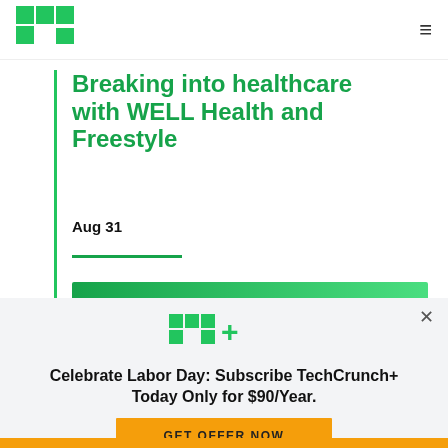TechCrunch logo and hamburger menu
Breaking into healthcare with WELL Health and Freestyle
Aug 31
Register
[Figure (logo): TC+ TechCrunch Plus logo in green]
Celebrate Labor Day: Subscribe TechCrunch+ Today Only for $90/Year.
GET OFFER NOW